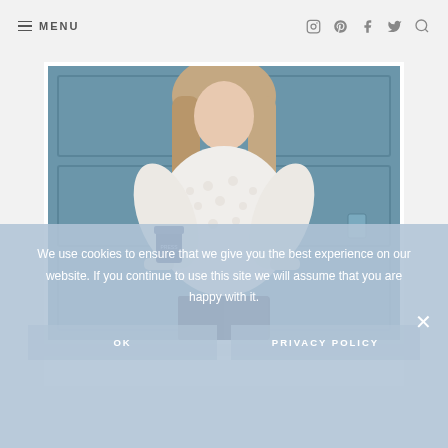≡ MENU
[Figure (photo): Woman in white chunky knit sweater holding a coffee cup, standing in front of a blue paneled door]
We use cookies to ensure that we give you the best experience on our website. If you continue to use this site we will assume that you are happy with it.
OK
PRIVACY POLICY